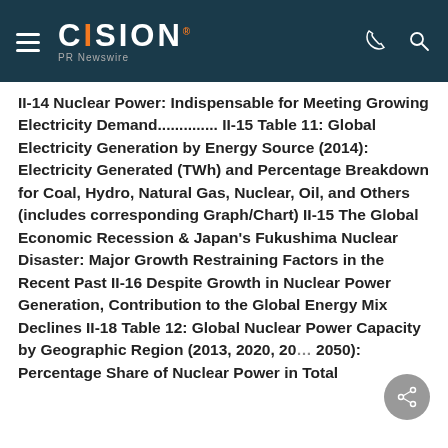CISION PR Newswire
II-14 Nuclear Power: Indispensable for Meeting Growing Electricity Demand.............. II-15 Table 11: Global Electricity Generation by Energy Source (2014): Electricity Generated (TWh) and Percentage Breakdown for Coal, Hydro, Natural Gas, Nuclear, Oil, and Others (includes corresponding Graph/Chart) II-15 The Global Economic Recession & Japan's Fukushima Nuclear Disaster: Major Growth Restraining Factors in the Recent Past II-16 Despite Growth in Nuclear Power Generation, Contribution to the Global Energy Mix Declines II-18 Table 12: Global Nuclear Power Capacity by Geographic Region (2013, 2020, 20... 2050): Percentage Share of Nuclear Power in Total